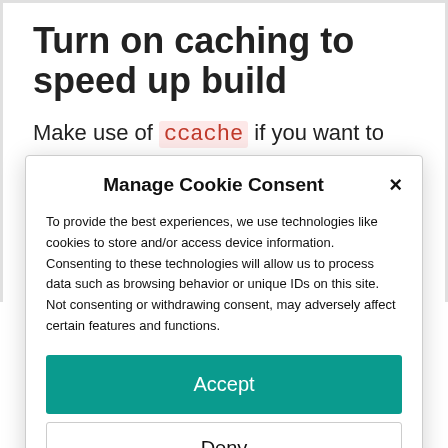Turn on caching to speed up build
Make use of ccache if you want to speed up subsequent builds by running:
export USE_CCACHE=1
Manage Cookie Consent
To provide the best experiences, we use technologies like cookies to store and/or access device information. Consenting to these technologies will allow us to process data such as browsing behavior or unique IDs on this site. Not consenting or withdrawing consent, may adversely affect certain features and functions.
Accept
Deny
Cookie Policy  Privacy Policy